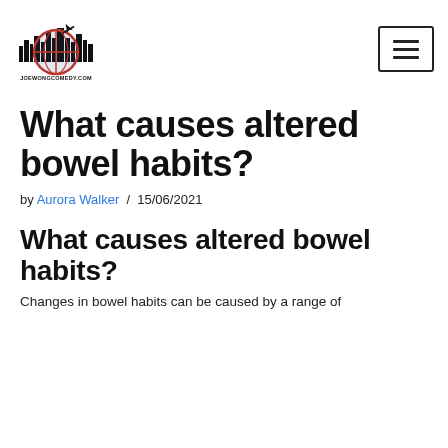[Figure (logo): Joewongcomedy.com website logo with cityscape and compass/globe graphic, text reads JOEWONGCOMEDY.COM PLACE TO EXPAND YOUR HORIZONS]
What causes altered bowel habits?
by Aurora Walker / 15/06/2021
What causes altered bowel habits?
Changes in bowel habits can be caused by a range of